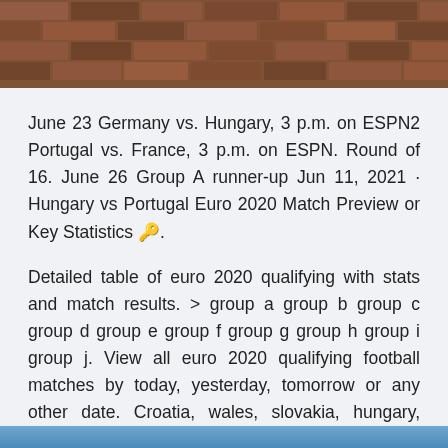[Figure (photo): Brick wall texture image at the top of the page]
June 23 Germany vs. Hungary, 3 p.m. on ESPN2 Portugal vs. France, 3 p.m. on ESPN. Round of 16. June 26 Group A runner-up Jun 11, 2021 · Hungary vs Portugal Euro 2020 Match Preview or Key Statistics 🔑.
Detailed table of euro 2020 qualifying with stats and match results. > group a group b group c group d group e group f group g group h group i group j. View all euro 2020 qualifying football matches by today, yesterday, tomorrow or any other date. Croatia, wales, slovakia, hungary, azerbaijan. Jun 10, 2021 · Group Information.
[Figure (photo): Blue gradient bar at the bottom of the page]